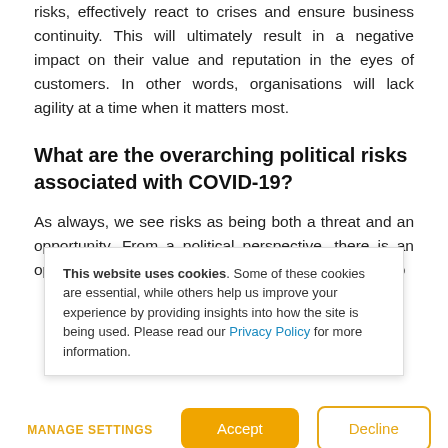risks, effectively react to crises and ensure business continuity. This will ultimately result in a negative impact on their value and reputation in the eyes of customers. In other words, organisations will lack agility at a time when it matters most.
What are the overarching political risks associated with COVID-19?
As always, we see risks as being both a threat and an opportunity. From a political perspective, there is an opportunity for governments to work across borders to
This website uses cookies. Some of these cookies are essential, while others help us improve your experience by providing insights into how the site is being used. Please read our Privacy Policy for more information.
MANAGE SETTINGS
Accept
Decline